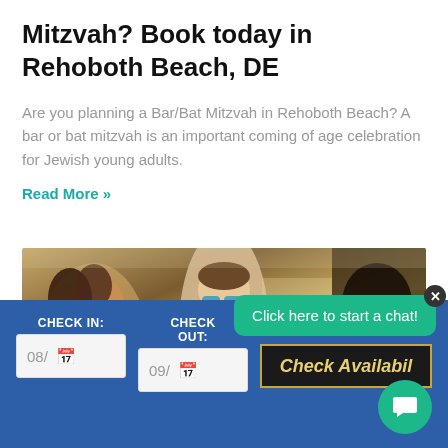Mitzvah? Book today in Rehoboth Beach, DE
Are you planning a Bar/Bat Mitzvah in Rehoboth Beach? A bar or bat mitzvah is an important coming of age celebration for Jewish young adults.
Read More »
[Figure (photo): Group of young people smiling and socializing indoors, one person wearing sunglasses in the center]
Click here to start a chat!
CHECK IN: 08/ [calendar icon]
CHECK OUT: 09/ [calendar icon]
Check Availabil...